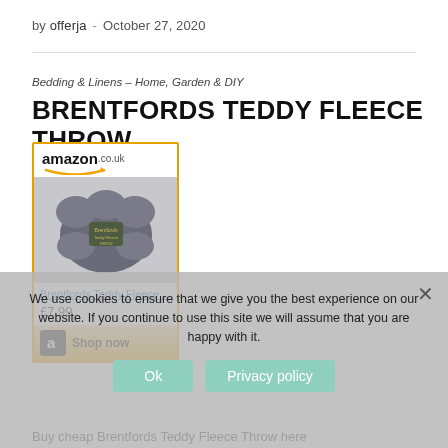by offerja  -  October 27, 2020
Bedding & Linens – Home, Garden & DIY
BRENTFORDS TEDDY FLEECE THROW
[Figure (screenshot): Amazon.co.uk product widget showing Brentfords Teddy Fleece Throw folded grey blanket, priced at £7.99 with a 'Shop now' button]
We use cookies to ensure that we give you the best experience on our website. If you continue to use this site we will assume that you are happy with it.
Ok
Privacy policy
Buy cheap Brentfords Teddy Fleece Throw here